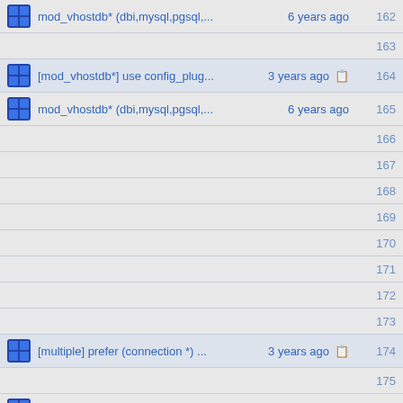mod_vhostdb* (dbi,mysql,pgsql,... 6 years ago  162
163
[mod_vhostdb*] use config_plug... 3 years ago  164
mod_vhostdb* (dbi,mysql,pgsql,... 6 years ago  165
166
167
168
169
170
171
172
173
[multiple] prefer (connection *) ... 3 years ago  174
175
mod_vhostdb* (dbi,mysql,pgsql,... 6 years ago  176
[multiple] prefer (connection *) ... 3 years ago  177
mod_vhostdb* (dbi,mysql,pgsql,... 6 years ago  178
179
[multiple] prefer (connection *) ... 3 years ago  180
181
mod_vhostdb* (dbi,mysql,pgsql,... 6 years ago  182
183